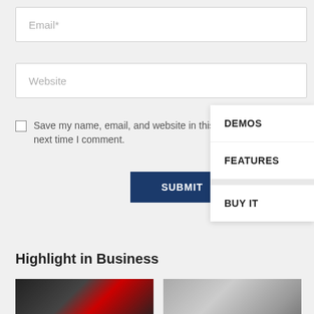Email*
Website
Save my name, email, and website in this browser for the next time I comment.
SUBMIT
DEMOS
FEATURES
BUY IT
Highlight in Business
[Figure (photo): Stock market trading screens with colorful charts]
[Figure (photo): Close-up of US dollar bill showing serial number 35131B]